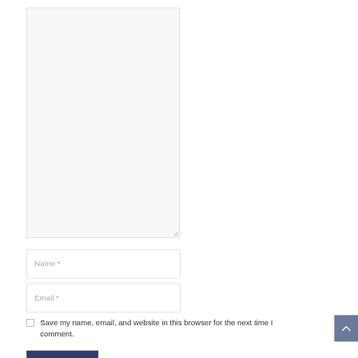[Figure (screenshot): A large empty textarea input box with a light gray background and border, with a resize handle in the bottom-right corner.]
Name *
Email *
Save my name, email, and website in this browser for the next time I comment.
[Figure (other): A gray scroll-to-top button with an upward caret chevron icon.]
[Figure (other): A dark navy blue submit/post comment button, partially visible at the bottom of the page.]